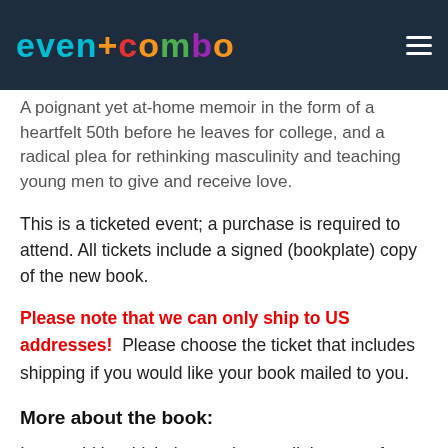[Figure (logo): Eventcombo logo with colorful text on dark navy header bar with hamburger menu icon]
A poignant yet at-home memoir in the form of a heartfelt 50th before he leaves for college, and a radical plea for rethinking masculinity and teaching young men to give and receive love.
This is a ticketed event; a purchase is required to attend. All tickets include a signed (bookplate) copy of the new book.
Please note that we can only ship to US addresses!  Please choose the ticket that includes shipping if you would like your book mailed to you.
More about the book:
In a world in which the word masculinity now often goes hand in hand with toxic, comedian, actor, and father